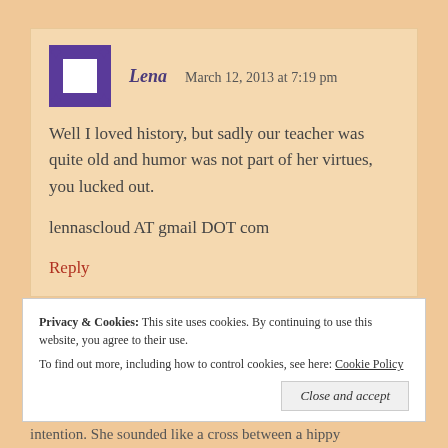[Figure (illustration): Purple and white patterned avatar/icon for user Lena]
Lena   March 12, 2013 at 7:19 pm
Well I loved history, but sadly our teacher was quite old and humor was not part of her virtues, you lucked out.
lennascloud AT gmail DOT com
Reply
Privacy & Cookies: This site uses cookies. By continuing to use this website, you agree to their use.
To find out more, including how to control cookies, see here: Cookie Policy
Close and accept
intention. She sounded like a cross between a hippy